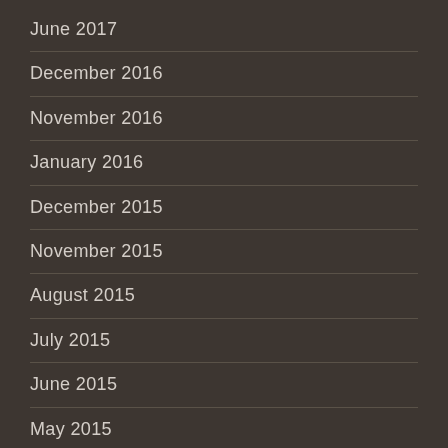June 2017
December 2016
November 2016
January 2016
December 2015
November 2015
August 2015
July 2015
June 2015
May 2015
April 2015
March 2015